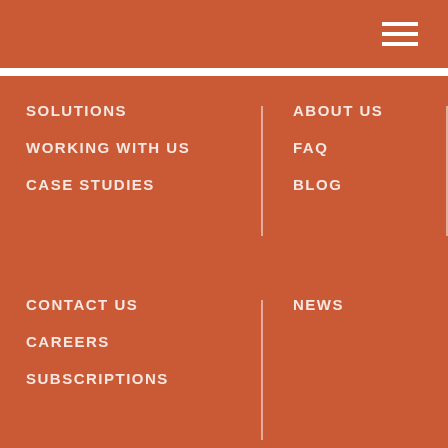[Figure (other): Hamburger menu icon with three white horizontal lines on orange background]
SOLUTIONS
WORKING WITH US
CASE STUDIES
ABOUT US
FAQ
BLOG
CONTACT US
CAREERS
SUBSCRIPTIONS
NEWS